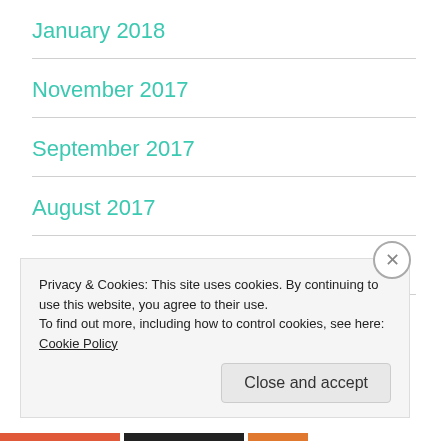January 2018
November 2017
September 2017
August 2017
July 2017
June 2017
Privacy & Cookies: This site uses cookies. By continuing to use this website, you agree to their use.
To find out more, including how to control cookies, see here: Cookie Policy
Close and accept